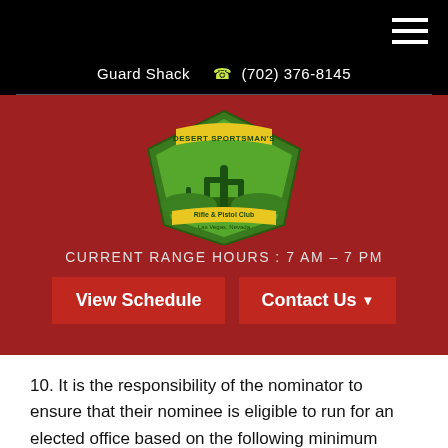Guard Shack  (702) 376-8145
[Figure (logo): Desert Sportsman's Rifle & Pistol Club logo — green shield shape with cacti, yellow text, Las Vegas Nevada]
CURRENT RANGE HOURS : 7 AM – 7 PM
View Schedule
Contact Us
10. It is the responsibility of the nominator to ensure that their nominee is eligible to run for an elected office based on the following minimum requirements.
11. The Secretary will confirm the eligibility of